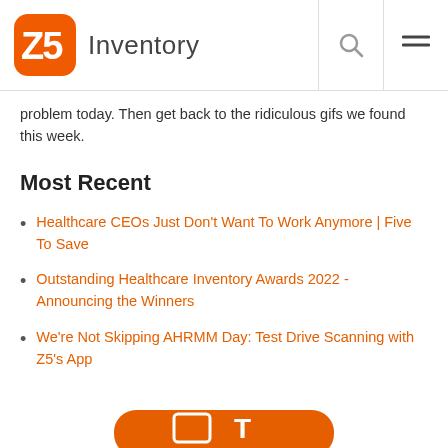Z5 Inventory
problem today. Then get back to the ridiculous gifs we found this week.
Most Recent
Healthcare CEOs Just Don't Want To Work Anymore | Five To Save
Outstanding Healthcare Inventory Awards 2022 - Announcing the Winners
We're Not Skipping AHRMM Day: Test Drive Scanning with Z5's App
[Figure (logo): Z5 Inventory logo and partial orange banner at the bottom of the page]